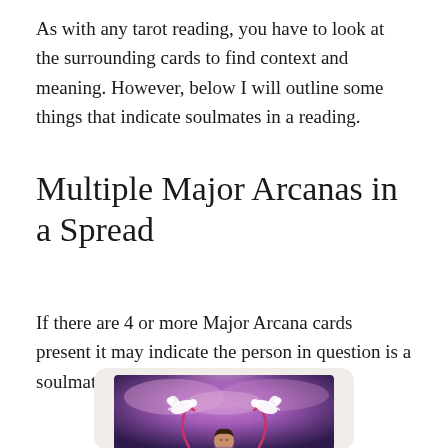As with any tarot reading, you have to look at the surrounding cards to find context and meaning. However, below I will outline some things that indicate soulmates in a reading.
Multiple Major Arcanas in a Spread
If there are 4 or more Major Arcana cards present it may indicate the person in question is a soulmate.
[Figure (illustration): A tarot card illustration showing a woman with two white doves and red ribbon-like swirls against a purple and pink cosmic background, displayed inside a card frame with a light beige rounded rectangle surround.]